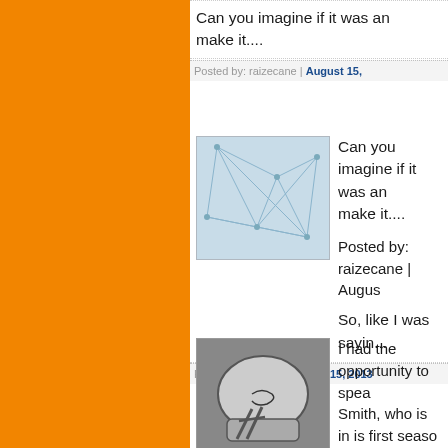Can you imagine if it was an make it....
Posted by: raizecane | August 15,
[Figure (photo): Small avatar image with blue geometric network/web pattern on white background]
Can you imagine if it was an make it....
Posted by: raizecane | August
So, like I was sayin...
Posted by: SOUP | August 15, 2013
[Figure (photo): Small thumbnail image of a football helmet with autograph/signature on it]
I had the opportunity to spea Smith, who is in is first seaso Smith played defensive back drafted by the Miami Dolphin was also the former coach at a perfect season in 2006.
Q: Your program has been na country by a preseason poll